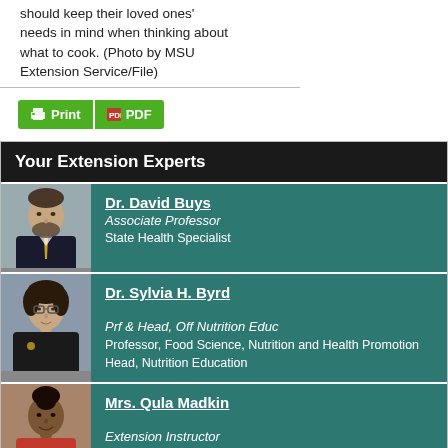should keep their loved ones' needs in mind when thinking about what to cook. (Photo by MSU Extension Service/File)
[Figure (other): Print and PDF buttons in green]
Your Extension Experts
[Figure (photo): Dr. David Buys headshot - man in suit with beard]
Dr. David Buys
Associate Professor
State Health Specialist
[Figure (photo): Dr. Sylvia H. Byrd headshot - woman with glasses]
Dr. Sylvia H. Byrd
Prf & Head, Off Nutrition Educ
Professor, Food Science, Nutrition and Health Promotion Head, Nutrition Education
[Figure (photo): Mrs. Qula Madkin headshot - woman smiling]
Mrs. Qula Madkin
Extension Instructor